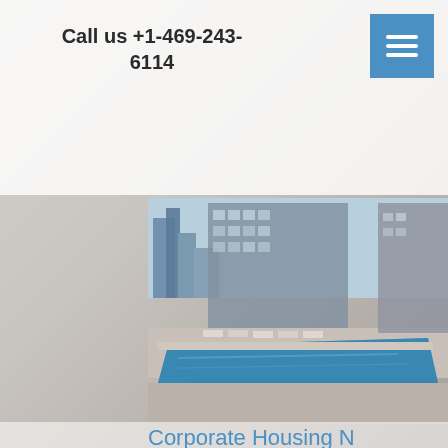Call us +1-469-243-6114
[Figure (photo): Blue square menu/hamburger icon button]
[Figure (photo): Rooftop pool at luxury apartment complex with city skyline and modern building in background]
Corporate Housing N Harwood Street
For many, living at Miro means immediate access to Uptown Dallas's finest restaurants and trendiest nightspots. For others, it means a short stroll to the city's cultural hub, the nationally admired Dallas Arts District. For every resident of Miro